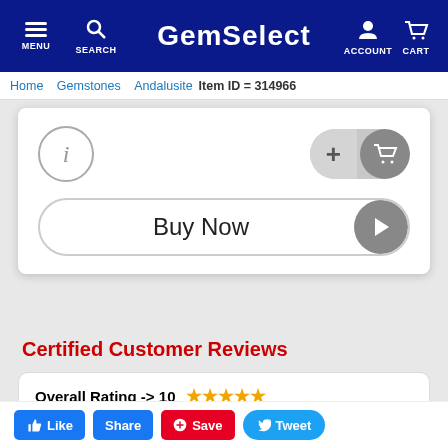GemSelect — MENU  SEARCH  ACCOUNT  CART
Home > Gemstones > Andalusite  Item ID = 314966
[Figure (screenshot): Product card with info button, add-to-cart button, and Buy Now button]
Certified Customer Reviews
Overall Rating -> 10 ★★★★★
This is the second purchase I have made from you. I am very pleased.
Like  Share  Save  Tweet